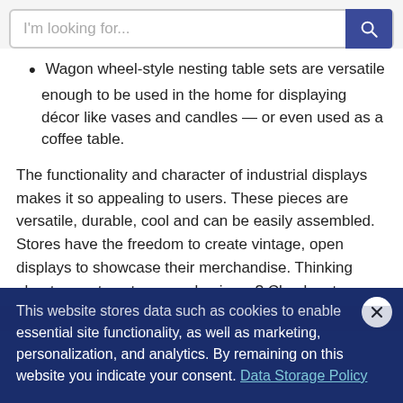I'm looking for...
Wagon wheel-style nesting table sets are versatile enough to be used in the home for displaying décor like vases and candles — or even used as a coffee table.
The functionality and character of industrial displays makes it so appealing to users. These pieces are versatile, durable, cool and can be easily assembled. Stores have the freedom to create vintage, open displays to showcase their merchandise. Thinking about ways to set up your business? Check out our article on how to get the most out of your store using visual merchandising - and use our pipeline display pieces to make it happen!
Recently Viewed Products
This website stores data such as cookies to enable essential site functionality, as well as marketing, personalization, and analytics. By remaining on this website you indicate your consent. Data Storage Policy